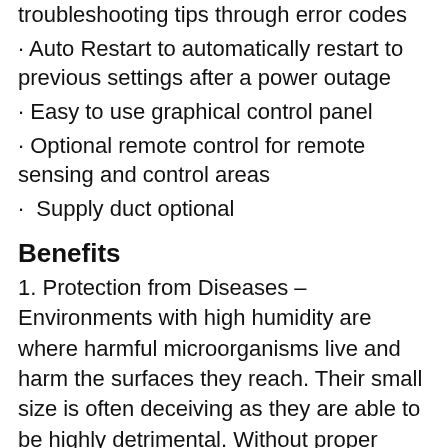troubleshooting tips through error codes
· Auto Restart to automatically restart to previous settings after a power outage
· Easy to use graphical control panel
· Optional remote control for remote sensing and control areas
·  Supply duct optional
Benefits
1. Protection from Diseases – Environments with high humidity are where harmful microorganisms live and harm the surfaces they reach. Their small size is often deceiving as they are able to be highly detrimental. Without proper extraction and prevention, they can bring various health risks such as allergies, skin irritations, respiratory illness, and immune-related diseases. Another harmful group that brings health risks are mosquitoes. They, too, thrive in humid places.